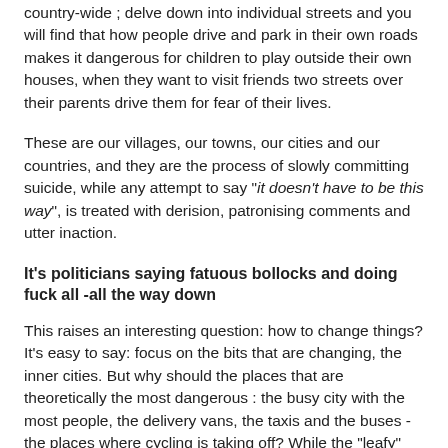country-wide ; delve down into individual streets and you will find that how people drive and park in their own roads makes it dangerous for children to play outside their own houses, when they want to visit friends two streets over their parents drive them for fear of their lives.
These are our villages, our towns, our cities and our countries, and they are the process of slowly committing suicide, while any attempt to say "it doesn't have to be this way", is treated with derision, patronising comments and utter inaction.
It's politicians saying fatuous bollocks and doing fuck all -all the way down
This raises an interesting question: how to change things? It's easy to say: focus on the bits that are changing, the inner cities. But why should the places that are theoretically the most dangerous : the busy city with the most people, the delivery vans, the taxis and the buses -the places where cycling is taking off? While the "leafy" suburbs, the dormitory towns, the market towns, the rural villages are getting